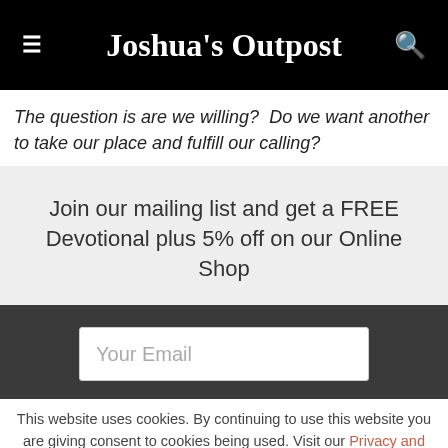Joshua's Outpost
The question is are we willing?  Do we want another to take our place and fulfill our calling?
Join our mailing list and get a FREE Devotional plus 5% off on our Online Shop
Your Email
This website uses cookies. By continuing to use this website you are giving consent to cookies being used. Visit our Privacy and Cookie Policy.
I Agree